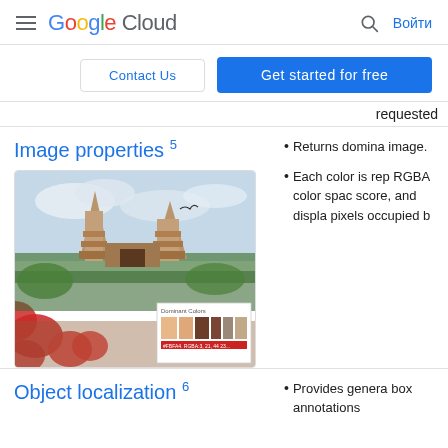Google Cloud — Войти
Contact Us   Get started for free
requested
Image properties 5
[Figure (photo): Photo of Balinese temple gates (pura) with red flowers in the foreground and a cloudy sky, with a dominant colors overlay panel showing color swatches.]
Returns domina image.
Each color is rep RGBA color spac score, and displa pixels occupied b
Object localization 6
Provides genera box annotations